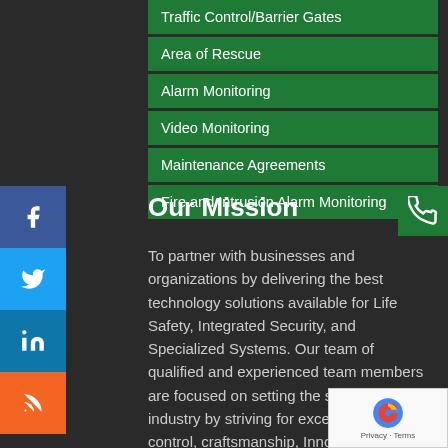Traffic Control/Barrier Gates
Area of Rescue
Alarm Monitoring
Video Monitoring
Maintenance Agreements
Fire and Intrusion Alarm Monitoring
Our Mission
To partner with businesses and organizations by delivering the best technology solutions available for Life Safety, Integrated Security, and Specialized Systems. Our team of qualified and experienced team members are focused on setting the standards in our industry by striving for excellence in quality control, craftsmanship, Innovation, creativity, customer satisfaction, customer support, improving processes, training, safety, and teamwork.